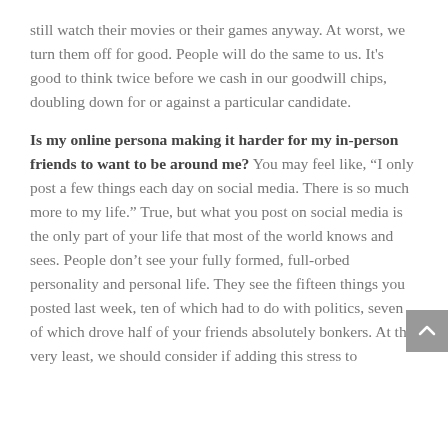still watch their movies or their games anyway. At worst, we turn them off for good. People will do the same to us. It's good to think twice before we cash in our goodwill chips, doubling down for or against a particular candidate.
Is my online persona making it harder for my in-person friends to want to be around me?
You may feel like, “I only post a few things each day on social media. There is so much more to my life.” True, but what you post on social media is the only part of your life that most of the world knows and sees. People don’t see your fully formed, full-orbed personality and personal life. They see the fifteen things you posted last week, ten of which had to do with politics, seven of which drove half of your friends absolutely bonkers. At the very least, we should consider if adding this stress to